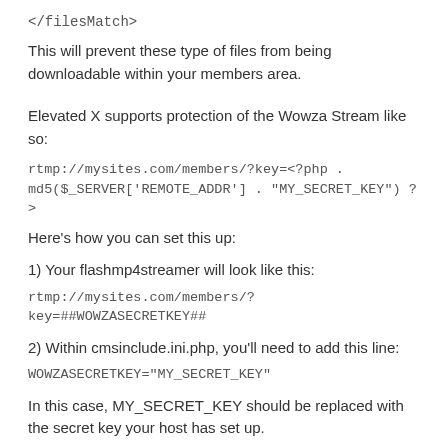</filesMatch>
This will prevent these type of files from being downloadable within your members area.
Elevated X supports protection of the Wowza Stream like so:
rtmp://mysites.com/members/?key=<?php . md5($_SERVER['REMOTE_ADDR'] . "MY_SECRET_KEY") ?>
Here's how you can set this up:
1) Your flashmp4streamer will look like this:
rtmp://mysites.com/members/?key=##WOWZASECRETKEY##
2) Within cmsinclude.ini.php, you'll need to add this line:
WOWZASECRETKEY="MY_SECRET_KEY"
In this case, MY_SECRET_KEY should be replaced with the secret key your host has set up.